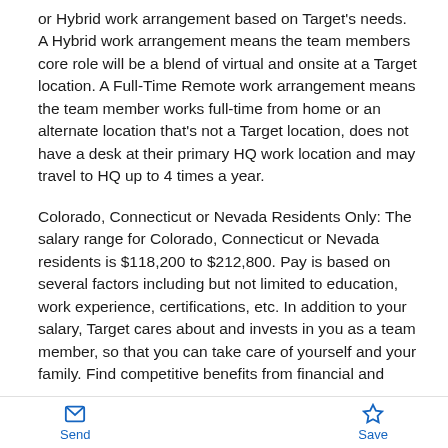or Hybrid work arrangement based on Target's needs. A Hybrid work arrangement means the team members core role will be a blend of virtual and onsite at a Target location. A Full-Time Remote work arrangement means the team member works full-time from home or an alternate location that's not a Target location, does not have a desk at their primary HQ work location and may travel to HQ up to 4 times a year.
Colorado, Connecticut or Nevada Residents Only: The salary range for Colorado, Connecticut or Nevada residents is $118,200 to $212,800. Pay is based on several factors including but not limited to education, work experience, certifications, etc. In addition to your salary, Target cares about and invests in you as a team member, so that you can take care of yourself and your family. Find competitive benefits from financial and
Send  Save